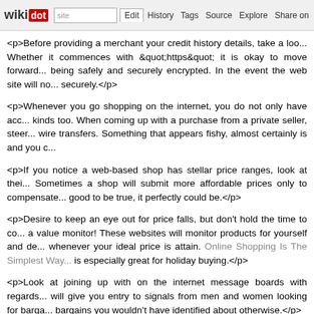wikidot | site | Edit | History | Tags | Source | Explore | Share on Twitter
<p>Before providing a merchant your credit history details, take a loo... Whether it commences with "https" it is okay to move forward... being safely and securely encrypted. In the event the web site will no... securely.</p>
<p>Whenever you go shopping on the internet, you do not only have acc... kinds too. When coming up with a purchase from a private seller, steer... wire transfers. Something that appears fishy, almost certainly is and you c...</p>
<p>If you notice a web-based shop has stellar price ranges, look at thei... Sometimes a shop will submit more affordable prices only to compensate... good to be true, it perfectly could be.</p>
<p>Desire to keep an eye out for price falls, but don't hold the time to co... a value monitor! These websites will monitor products for yourself and de... whenever your ideal price is attain. Online Shopping Is The Simplest Way... is especially great for holiday buying.</p>
<p>Look at joining up with on the internet message boards with regards... will give you entry to signals from men and women looking for barga... bargains you wouldn't have identified about otherwise.</p>
<p>In fact buying on auction web sites may still net you a good deal. W... garage area purchase, there are lots of gives available which are serious... first, then compare with other stores on the internet, it will be possible to fi...</p>
<p>If you appreciate to acquire and use gift cards for shopping online, be... released them. Next-party web sites are appearing all over, and thou...</p>